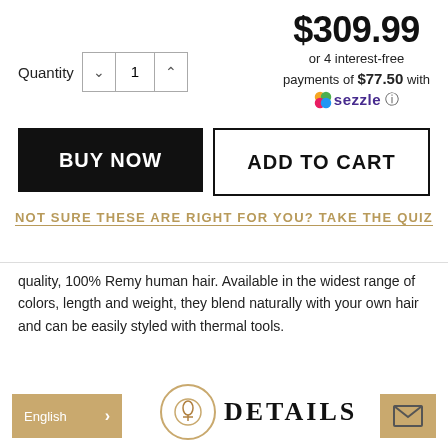$309.99
or 4 interest-free payments of $77.50 with Sezzle
Quantity 1
BUY NOW
ADD TO CART
NOT SURE THESE ARE RIGHT FOR YOU? TAKE THE QUIZ
quality, 100% Remy human hair. Available in the widest range of colors, length and weight, they blend naturally with your own hair and can be easily styled with thermal tools.
English
DETAILS